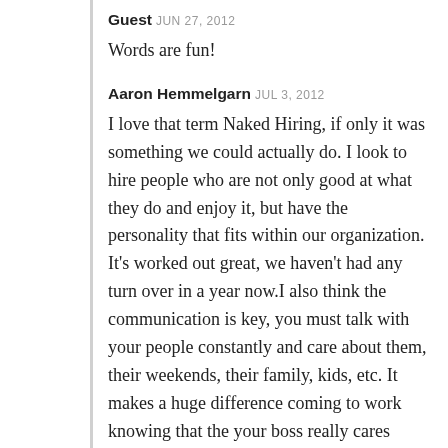Guest JUN 27, 2012
Words are fun!
Aaron Hemmelgarn JUL 3, 2012
I love that term Naked Hiring, if only it was something we could actually do. I look to hire people who are not only good at what they do and enjoy it, but have the personality that fits within our organization. It's worked out great, we haven't had any turn over in a year now.I also think the communication is key, you must talk with your people constantly and care about them, their weekends, their family, kids, etc. It makes a huge difference coming to work knowing that the your boss really cares about you.